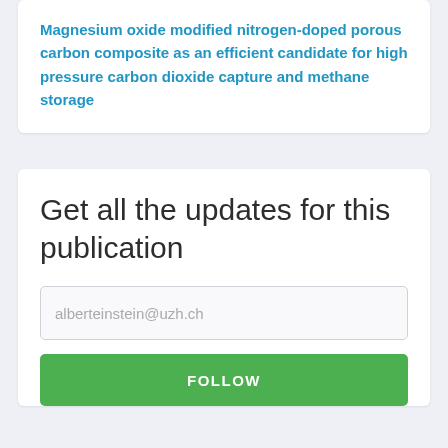Magnesium oxide modified nitrogen-doped porous carbon composite as an efficient candidate for high pressure carbon dioxide capture and methane storage
Get all the updates for this publication
alberteinstein@uzh.ch
FOLLOW